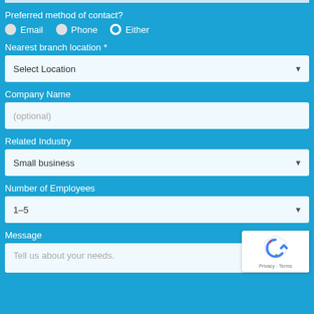Preferred method of contact?
Email   Phone   Either
Nearest branch location *
Select Location
Company Name
(optional)
Related Industry
Small business
Number of Employees
1–5
Message
Tell us about your needs.